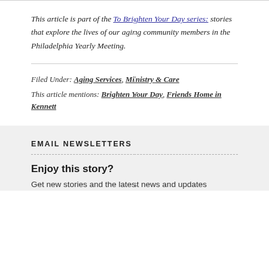This article is part of the To Brighten Your Day series: stories that explore the lives of our aging community members in the Philadelphia Yearly Meeting.
Filed Under: Aging Services, Ministry & Care
This article mentions: Brighten Your Day, Friends Home in Kennett
EMAIL NEWSLETTERS
Enjoy this story?
Get new stories and the latest news and updates